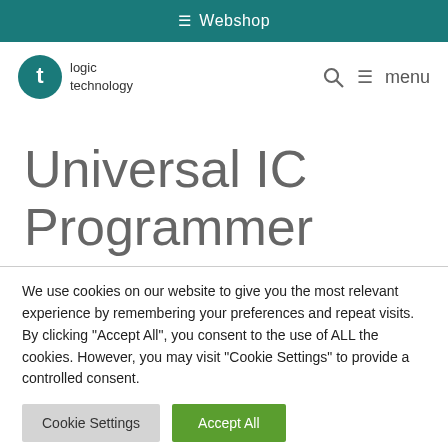≡ Webshop
[Figure (logo): Logic Technology logo: teal circle with white 't' letter, followed by text 'logic technology']
Universal IC Programmer
We use cookies on our website to give you the most relevant experience by remembering your preferences and repeat visits. By clicking "Accept All", you consent to the use of ALL the cookies. However, you may visit "Cookie Settings" to provide a controlled consent.
Cookie Settings | Accept All